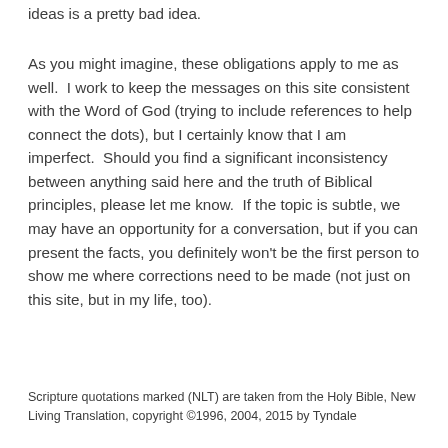ideas is a pretty bad idea.
As you might imagine, these obligations apply to me as well.  I work to keep the messages on this site consistent with the Word of God (trying to include references to help connect the dots), but I certainly know that I am imperfect.  Should you find a significant inconsistency between anything said here and the truth of Biblical principles, please let me know.  If the topic is subtle, we may have an opportunity for a conversation, but if you can present the facts, you definitely won't be the first person to show me where corrections need to be made (not just on this site, but in my life, too).
Scripture quotations marked (NLT) are taken from the Holy Bible, New Living Translation, copyright ©1996, 2004, 2015 by Tyndale